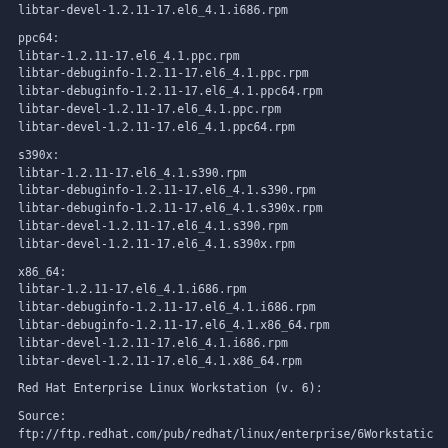libtar-devel-1.2.11-17.el6_4.1.i686.rpm
ppc64:
libtar-1.2.11-17.el6_4.1.ppc.rpm
libtar-debuginfo-1.2.11-17.el6_4.1.ppc.rpm
libtar-debuginfo-1.2.11-17.el6_4.1.ppc64.rpm
libtar-devel-1.2.11-17.el6_4.1.ppc.rpm
libtar-devel-1.2.11-17.el6_4.1.ppc64.rpm
s390x:
libtar-1.2.11-17.el6_4.1.s390.rpm
libtar-debuginfo-1.2.11-17.el6_4.1.s390.rpm
libtar-debuginfo-1.2.11-17.el6_4.1.s390x.rpm
libtar-devel-1.2.11-17.el6_4.1.s390.rpm
libtar-devel-1.2.11-17.el6_4.1.s390x.rpm
x86_64:
libtar-1.2.11-17.el6_4.1.i686.rpm
libtar-debuginfo-1.2.11-17.el6_4.1.i686.rpm
libtar-debuginfo-1.2.11-17.el6_4.1.x86_64.rpm
libtar-devel-1.2.11-17.el6_4.1.i686.rpm
libtar-devel-1.2.11-17.el6_4.1.x86_64.rpm
Red Hat Enterprise Linux Workstation (v. 6):
Source:
ftp://ftp.redhat.com/pub/redhat/linux/enterprise/6Workstatic
i386:
libtar-1.2.11-17.el6_4.1.i686.rpm
libtar-debuginfo-1.2.11-17.el6_4.1.i686.rpm
x86_64: